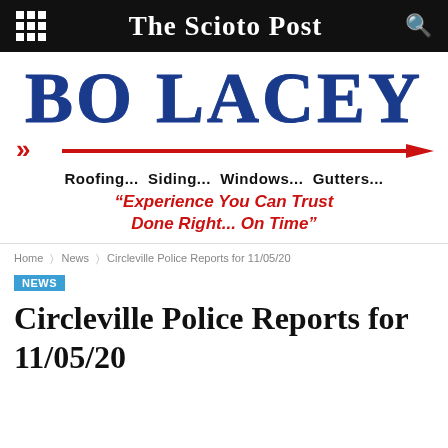The Scioto Post
[Figure (logo): Bo Lacey roofing advertisement with large blue serif logo text 'BO LACEY', a red arrow spanning the width, services list 'Roofing... Siding... Windows... Gutters...' and tagline 'Experience You Can Trust Done Right... On Time']
Home > News > Circleville Police Reports for 11/05/20
NEWS
Circleville Police Reports for 11/05/20